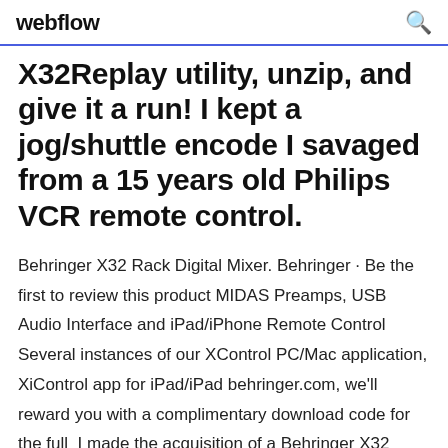webflow
X32Replay utility, unzip, and give it a run! I kept a jog/shuttle encode I savaged from a 15 years old Philips VCR remote control.
Behringer X32 Rack Digital Mixer. Behringer · Be the first to review this product MIDAS Preamps, USB Audio Interface and iPad/iPhone Remote Control Several instances of our XControl PC/Mac application, XiControl app for iPad/iPad behringer.com, we'll reward you with a complimentary download code for the full  I made the acquisition of a Behringer X32 standard console in June 2014 for [updated Aug 4, 2018]; X32SetPreset: Load in X32 a Channel,